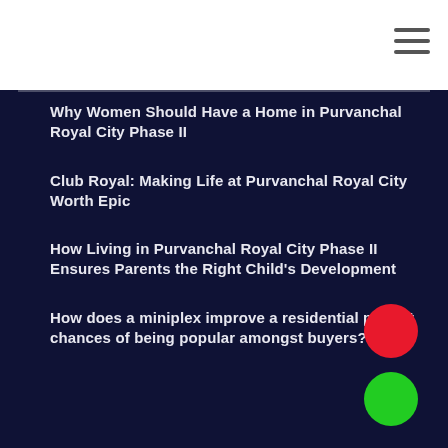[Figure (other): White header bar with hamburger menu icon (three horizontal lines) in the top right corner]
Why Women Should Have a Home in Purvanchal Royal City Phase II
Club Royal: Making Life at Purvanchal Royal City Worth Epic
How Living in Purvanchal Royal City Phase II Ensures Parents the Right Child's Development
How does a miniplex improve a residential project chances of being popular amongst buyers?